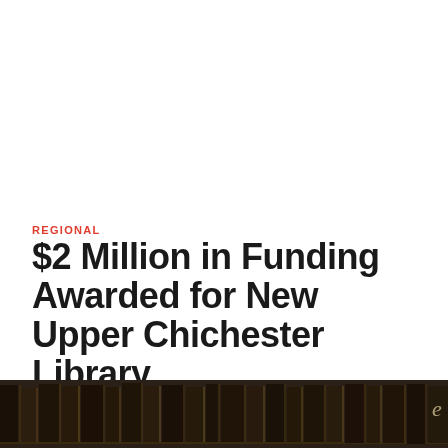REGIONAL
$2 Million in Funding Awarded for New Upper Chichester Library
April 27, 2022  -  by MyChesCo
[Figure (photo): Shelves of old books in a library, viewed from below, close-up of dark leather-bound volumes]